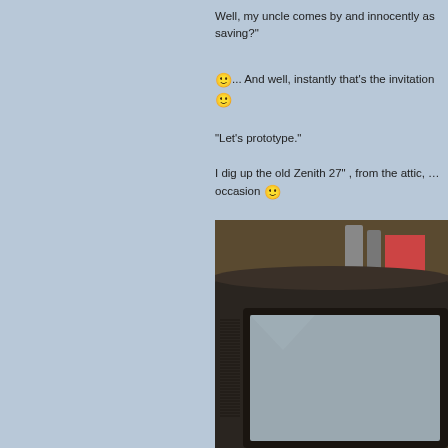Well, my uncle comes by and innocently asks... saving?
🙂... And well, instantly that's the invitation 🙂
"Let's prototype."
I dig up the old Zenith 27" , from the attic, ... occasion 🙂
[Figure (photo): Close-up photo of an old Zenith 27-inch CRT television set, showing the top and corner of the TV with its dark plastic casing and screen bezel]